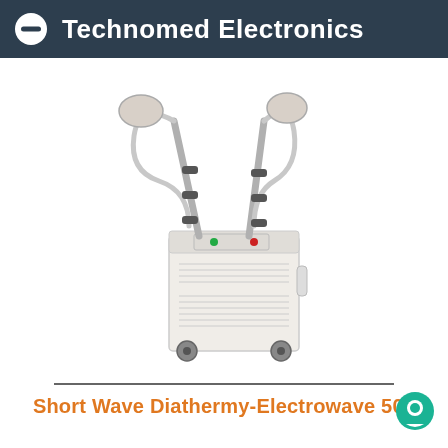Technomed Electronics
[Figure (photo): Short Wave Diathermy machine - a white medical device on wheels with two adjustable arms and circular electrode pads, control panel on top]
Short Wave Diathermy-Electrowave 500